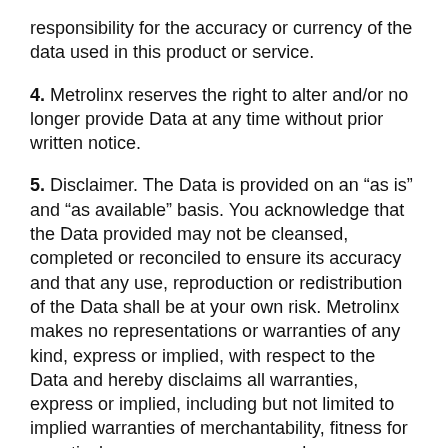responsibility for the accuracy or currency of the data used in this product or service.
4. Metrolinx reserves the right to alter and/or no longer provide Data at any time without prior written notice.
5. Disclaimer. The Data is provided on an “as is” and “as available” basis. You acknowledge that the Data provided may not be cleansed, completed or reconciled to ensure its accuracy and that any use, reproduction or redistribution of the Data shall be at your own risk. Metrolinx makes no representations or warranties of any kind, express or implied, with respect to the Data and hereby disclaims all warranties, express or implied, including but not limited to implied warranties of merchantability, fitness for a particular purpose, accuracy and non-infringement.